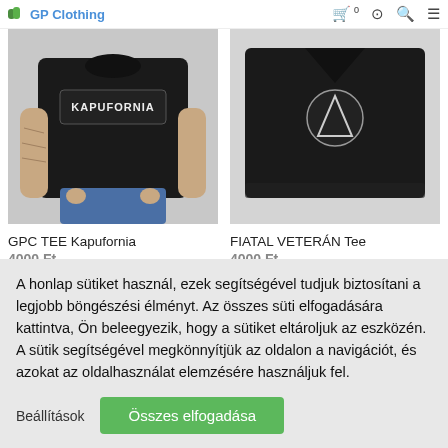GP Clothing
[Figure (photo): Man wearing a black GPC Kapufornia t-shirt with tattoos visible on arms]
[Figure (photo): Black Fiatal Veterán folded t-shirt on white background]
GPC TEE Kapufornia
4000 Ft
OPCIÓK VÁLASZTÁSA
FIATAL VETERÁN Tee
4000 Ft
OPCIÓK VÁLASZTÁSA
A honlap sütiket használ, ezek segítségével tudjuk biztosítani a legjobb böngészési élményt. Az összes süti elfogadására kattintva, Ön beleegyezik, hogy a sütiket eltároljuk az eszközén. A sütik segítségével megkönnyítjük az oldalon a navigációt, és azokat az oldalhasználat elemzésére használjuk fel.
Beállítások
Összes elfogadása